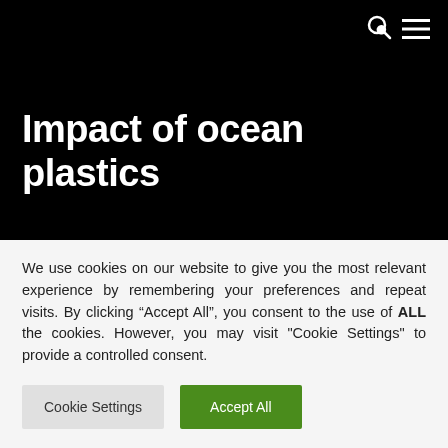Impact of ocean plastics
Impact of ocean plastics
We use cookies on our website to give you the most relevant experience by remembering your preferences and repeat visits. By clicking “Accept All”, you consent to the use of ALL the cookies. However, you may visit "Cookie Settings" to provide a controlled consent.
Cookie Settings | Accept All